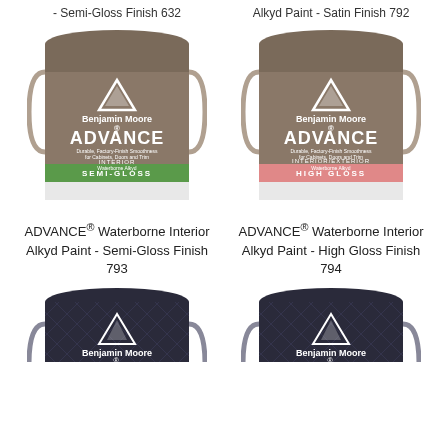- Semi-Gloss Finish 632
Alkyd Paint - Satin Finish 792
[Figure (photo): Benjamin Moore ADVANCE Interior Waterborne Alkyd paint can, Semi-Gloss finish, green stripe]
[Figure (photo): Benjamin Moore ADVANCE Interior/Exterior Waterborne Alkyd paint can, High Gloss finish, pink/red stripe]
ADVANCE® Waterborne Interior Alkyd Paint - Semi-Gloss Finish 793
ADVANCE® Waterborne Interior Alkyd Paint - High Gloss Finish 794
[Figure (photo): Benjamin Moore paint can, dark label, partially cropped at bottom of page]
[Figure (photo): Benjamin Moore paint can, dark label, partially cropped at bottom of page]